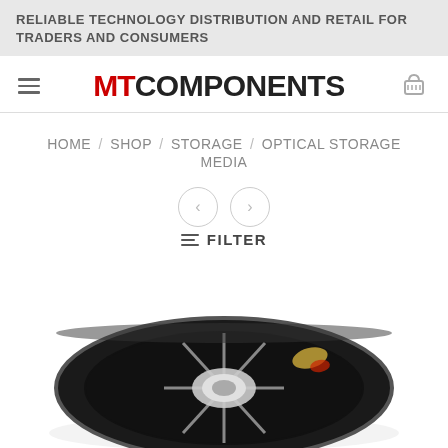RELIABLE TECHNOLOGY DISTRIBUTION AND RETAIL FOR TRADERS AND CONSUMERS
MT COMPONENTS
HOME / SHOP / STORAGE / OPTICAL STORAGE MEDIA
[Figure (screenshot): Navigation arrows (previous/next) as circular outlined buttons]
≡ FILTER
[Figure (photo): A magnetic tape reel (optical storage media) viewed from above, showing a black circular reel with a clear center hub and colorful tape inside, on a white background.]